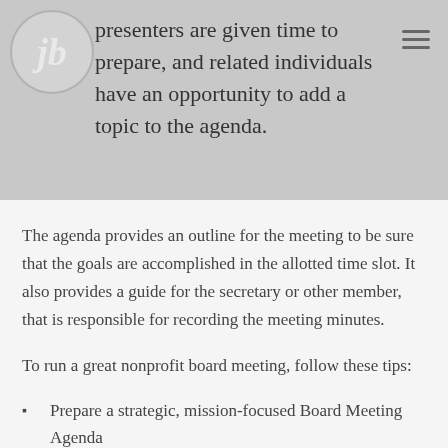presenters are given time to prepare, and related individuals have an opportunity to add a topic to the agenda.
The agenda provides an outline for the meeting to be sure that the goals are accomplished in the allotted time slot. It also provides a guide for the secretary or other member, that is responsible for recording the meeting minutes.
To run a great nonprofit board meeting, follow these tips:
Prepare a strategic, mission-focused Board Meeting Agenda
Distribute the agenda prior to the meeting